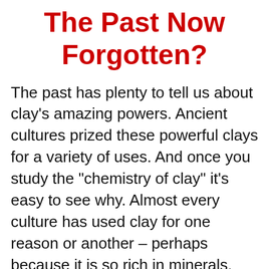The Past Now Forgotten?
The past has plenty to tell us about clay's amazing powers. Ancient cultures prized these powerful clays for a variety of uses. And once you study the "chemistry of clay" it's easy to see why. Almost every culture has used clay for one reason or another – perhaps because it is so rich in minerals. (Survival Clay contains at least 87 distinct minerals and rare earths.) Some cultures even considered clay an